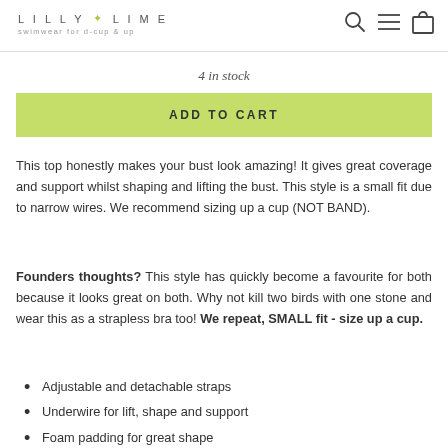LILLY & LIME swimwear for d-cup & up
4 in stock
ADD TO CART
This top honestly makes your bust look amazing! It gives great coverage and support whilst shaping and lifting the bust. This style is a small fit due to narrow wires. We recommend sizing up a cup (NOT BAND).
Founders thoughts? This style has quickly become a favourite for both because it looks great on both. Why not kill two birds with one stone and wear this as a strapless bra too! We repeat, SMALL fit - size up a cup.
Adjustable and detachable straps
Underwire for lift, shape and support
Foam padding for great shape